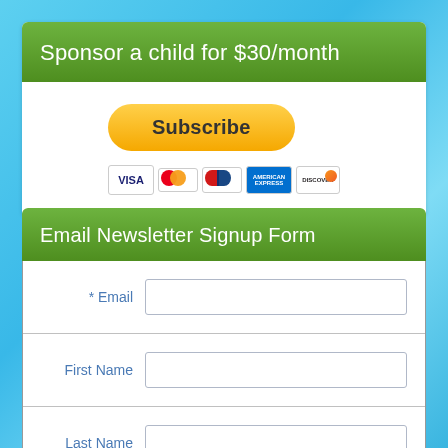Sponsor a child for $30/month
[Figure (screenshot): PayPal Subscribe button with payment card icons (VISA, Mastercard, JCB, Amex, Discover)]
Email Newsletter Signup Form
| Field | Input |
| --- | --- |
| * Email |  |
| First Name |  |
| Last Name |  |
| Address 1 |  |